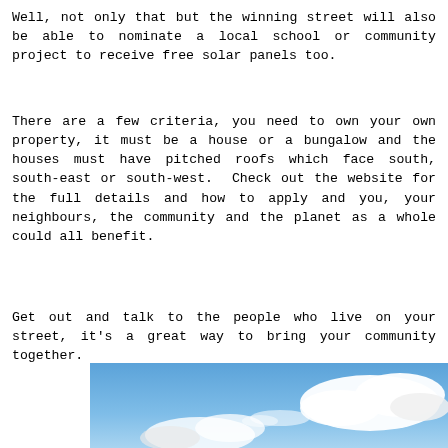Well, not only that but the winning street will also be able to nominate a local school or community project to receive free solar panels too.
There are a few criteria, you need to own your own property, it must be a house or a bungalow and the houses must have pitched roofs which face south, south-east or south-west.  Check out the website for the full details and how to apply and you, your neighbours, the community and the planet as a whole could all benefit.
Get out and talk to the people who live on your street, it's a great way to bring your community together.
[Figure (photo): Photograph of a blue sky with white clouds, cropped view showing sky and clouds from below.]